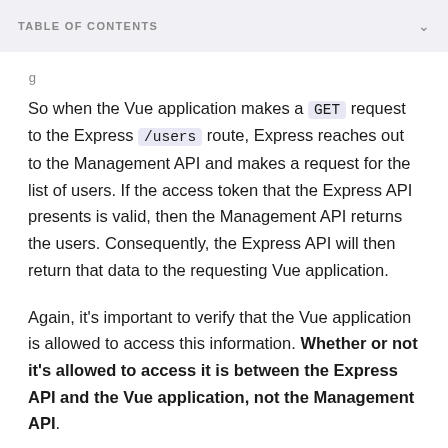TABLE OF CONTENTS
So when the Vue application makes a GET request to the Express /users route, Express reaches out to the Management API and makes a request for the list of users. If the access token that the Express API presents is valid, then the Management API returns the users. Consequently, the Express API will then return that data to the requesting Vue application.
Again, it's important to verify that the Vue application is allowed to access this information. Whether or not it's allowed to access it is between the Express API and the Vue application, not the Management API.